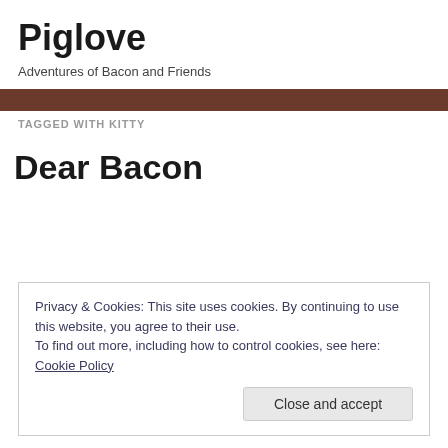Piglove
Adventures of Bacon and Friends
TAGGED WITH KITTY
Dear Bacon
Privacy & Cookies: This site uses cookies. By continuing to use this website, you agree to their use.
To find out more, including how to control cookies, see here: Cookie Policy
Close and accept